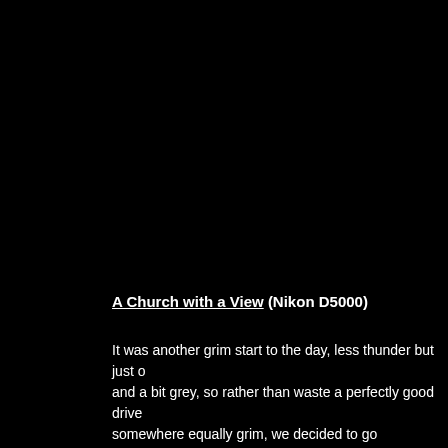A Church with a View (Nikon D5000)
It was another grim start to the day, less thunder but just o and a bit grey, so rather than waste a perfectly good drive somewhere equally grim, we decided to go somewhere clo as Orta San Giulio, apparently an unspoilt village on the ba lake not too far off. Navigating there was interesting as the any parking in the town so deciding which car park we wer to use took some skill and judgement, but once there sure there was a town, and a lake, and another island to look a we were a bit islanded out we took a quick swing around t